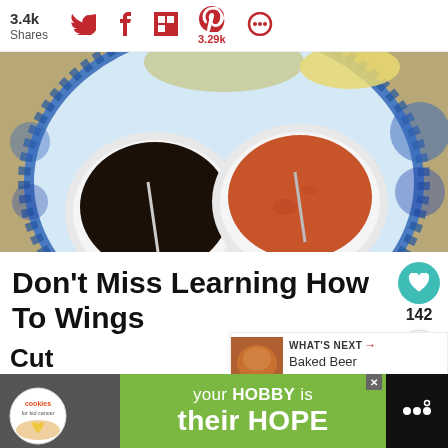3.4k Shares — social share icons: Twitter, Facebook, Flipboard, Pinterest (3.29k), Other
[Figure (photo): Overhead view of two white ceramic bowls on a decorative blue and white plate, one containing dark sauce and one containing orange-red sauce, each with a spoon]
Don't Miss Learning How To Wings
142
WHAT'S NEXT → Baked Beer Chicken Leg...
[Figure (photo): Advertisement: cookies for kid cancer logo with a heart-shaped cookie, text 'your HOBBY is their HOPE' on green background]
Cut